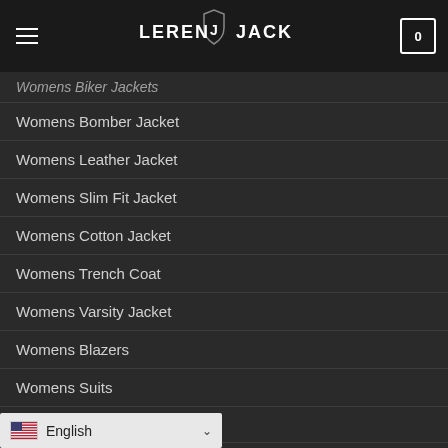LEREN J JACK
Womens Biker Jackets
Womens Bomber Jacket
Womens Leather Jacket
Womens Slim Fit Jacket
Womens Cotton Jacket
Womens Trench Coat
Womens Varsity Jacket
Womens Blazers
Womens Suits
Womens Vest
English